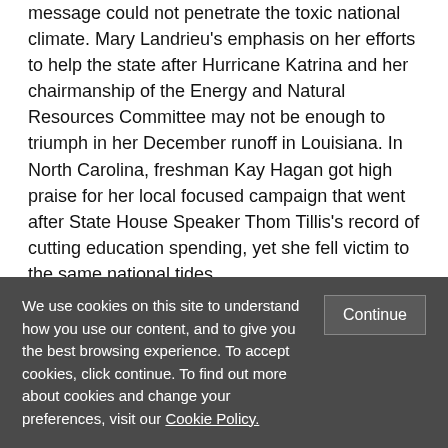message could not penetrate the toxic national climate. Mary Landrieu's emphasis on her efforts to help the state after Hurricane Katrina and her chairmanship of the Energy and Natural Resources Committee may not be enough to triumph in her December runoff in Louisiana.  In North Carolina, freshman Kay Hagan got high praise for her local focused campaign that went after State House Speaker Thom Tillis's record of cutting education spending, yet she fell victim to the same national tides.
The loss of these moderates also has important implications for governing.  As Republicans take over the Senate, they have lost some of their most likely allies on the Democratic side of the aisle.
We use cookies on this site to understand how you use our content, and to give you the best browsing experience. To accept cookies, click continue. To find out more about cookies and change your preferences, visit our Cookie Policy.